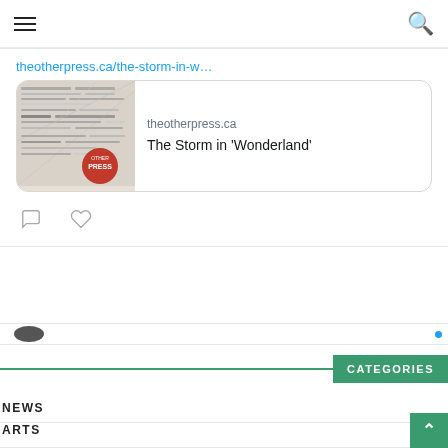≡  [search icon]
theotherpress.ca/the-storm-in-w…
[Figure (screenshot): Tweet card preview showing a newspaper collage thumbnail image on the left, with text 'theotherpress.ca' and 'The Storm in 'Wonderland'' on the right. Below the card are comment and like (heart) icons.]
CATEGORIES
NEWS
ARTS